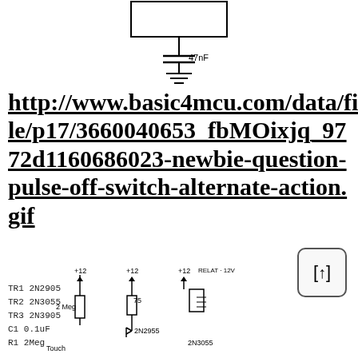[Figure (schematic): Top portion of an electronic schematic showing a rectangular component (likely a crystal or IC) connected to a 47nF capacitor with ground symbol.]
http://www.basic4mcu.com/data/file/p17/3660040653_fbMOixjq_9772d1160686023-newbie-question-pulse-off-switch-alternate-action.gif
[Figure (other): Scroll up button showing [↑] in a rounded rectangle.]
[Figure (schematic): Bottom portion of an electronic schematic showing transistors 2N2905, 2N3055, 2N3905, capacitor C1 0.1uF, resistor R1 2Meg, with +12V power supplies, 2Meg and 75 ohm resistors, 2N2955 and 2N3055 transistors, RELAT 12V relay, and Touch input.]